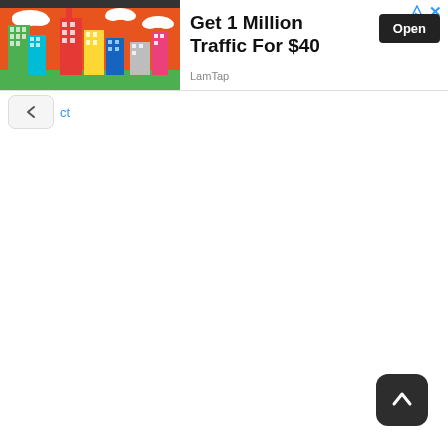[Figure (screenshot): Advertisement banner: colorful cartoon city skyline illustration on the left (orange background with buildings), text 'Get 1 Million Traffic For $40' in bold, 'Open' button in dark rectangle, 'LamTap' source label, and ad icons (triangle and X) in top-right corner.]
ct
[Figure (other): Dark rounded square scroll-to-top button with white upward arrow in lower-right corner.]